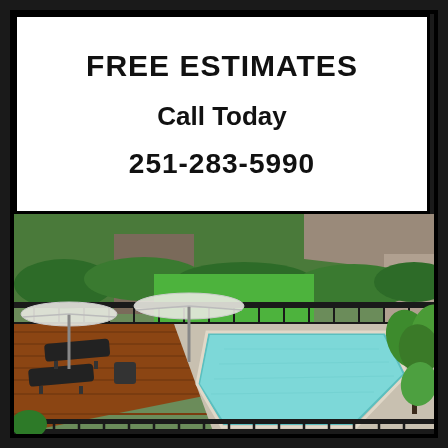FREE ESTIMATES
Call Today
251-283-5990
[Figure (photo): Aerial view of a backyard swimming pool with lounge chairs, patio umbrellas, black iron fence, tropical plants, and a house in the background.]